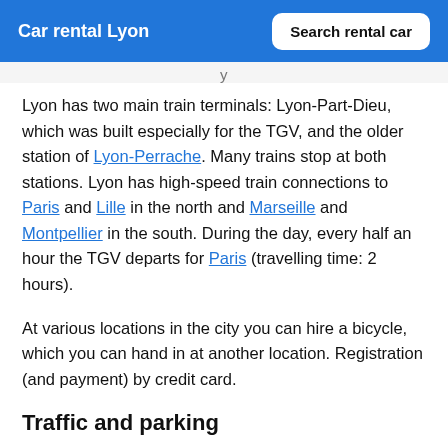Car rental Lyon | Search rental car
Lyon has two main train terminals: Lyon-Part-Dieu, which was built especially for the TGV, and the older station of Lyon-Perrache. Many trains stop at both stations. Lyon has high-speed train connections to Paris and Lille in the north and Marseille and Montpellier in the south. During the day, every half an hour the TGV departs for Paris (travelling time: 2 hours).
At various locations in the city you can hire a bicycle, which you can hand in at another location. Registration (and payment) by credit card.
Traffic and parking
The city is located on a junction of motorways: the A6 to Paris (traveling time: 4 hours), the A7 to Marseille (2½ hours), the A43 to Genève (1½ hours) and the A48 to Grenoble (1 hour).
The best way to explore the centre of Lyon is on foot. Traffic is